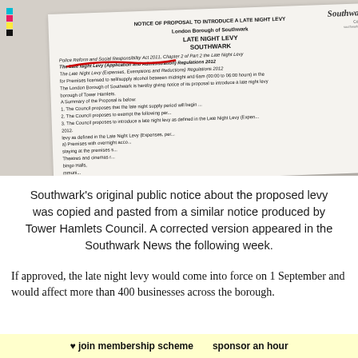[Figure (photo): A photograph of a printed government notice document from the London Borough of Southwark about a proposed Late Night Levy. The document has red underlining marking 'borough of Tower Hamlets' text, indicating it was copied from a Tower Hamlets notice. The document is shown at a slight angle with print registration marks visible in the top left corner.]
Southwark's original public notice about the proposed levy was copied and pasted from a similar notice produced by Tower Hamlets Council. A corrected version appeared in the Southwark News the following week.
If approved, the late night levy would come into force on 1 September and would affect more than 400 businesses across the borough.
♥ join membership scheme   sponsor an hour